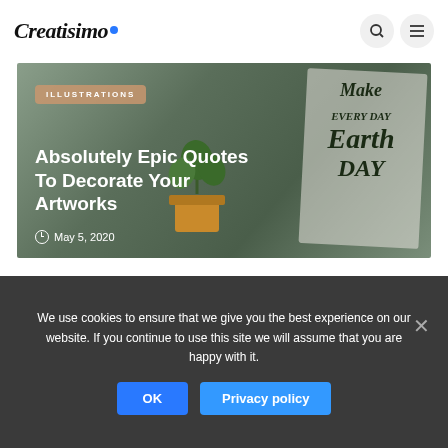Creatisimo
[Figure (photo): Blog post hero image showing decorated typography and plant illustration on a dark green background. Overlay text reads 'Make every day earth day' in decorative lettering.]
ILLUSTRATIONS
Absolutely Epic Quotes To Decorate Your Artworks
May 5, 2020
We use cookies to ensure that we give you the best experience on our website. If you continue to use this site we will assume that you are happy with it.
OK
Privacy policy